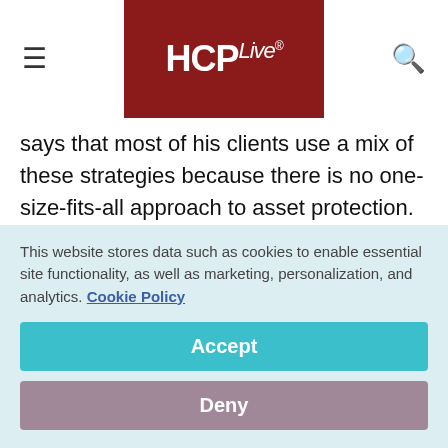HCPLive®
says that most of his clients use a mix of these strategies because there is no one-size-fits-all approach to asset protection.
"Each of these areas involve differing degrees of cost and complication, which must be considered based upon the size of the asset that
This website stores data such as cookies to enable essential site functionality, as well as marketing, personalization, and analytics. Cookie Policy
Accept
Deny